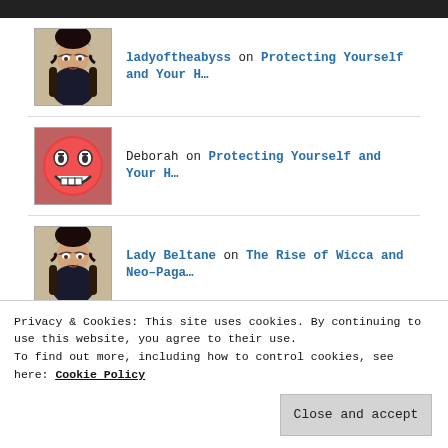ladyoftheabyss on Protecting Yourself and Your H…
Deborah on Protecting Yourself and Your H…
Lady Beltane on The Rise of Wicca and Neo–Paga…
ladyoftheabyss on The Path Of The Water Witch
Privacy & Cookies: This site uses cookies. By continuing to use this website, you agree to their use.
To find out more, including how to control cookies, see here: Cookie Policy
Close and accept